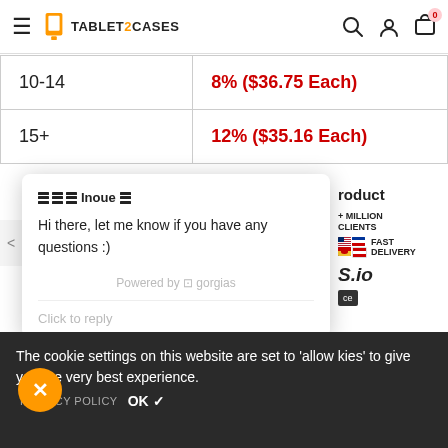TABLET2CASES
| 10-14 | 8% ($36.75 Each) |
| 15+ | 12% ($35.16 Each) |
[Figure (screenshot): Chat popup from Gorgias: avatar icons (Inoue), message 'Hi there, let me know if you have any questions :)', powered by gorgias, Click to reply input]
product + MILLION CLIENTS FAST DELIVERY YS.io ce
The cookie settings on this website are set to 'allow cookies' to give you the very best experience.
PRIVACY POLICY   OK ✓
#showyourstyle @tablet2cases